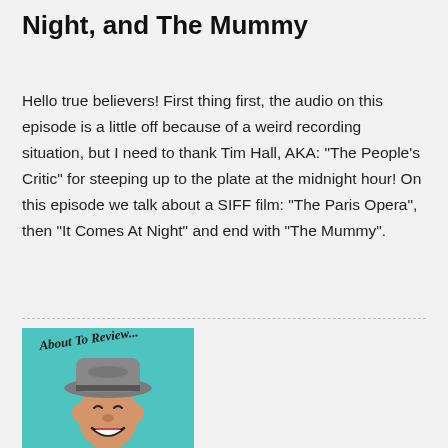Night, and The Mummy
Hello true believers! First thing first, the audio on this episode is a little off because of a weird recording situation, but I need to thank Tim Hall, AKA: "The People's Critic" for steeping up to the plate at the midnight hour! On this episode we talk about a SIFF film: "The Paris Opera", then "It Comes At Night" and end with "The Mummy".
[Figure (illustration): About To Review podcast logo featuring a retro-style illustration of a smiling man wearing a grey fedora hat, on a teal/turquoise background with the text 'About To Review...' in cursive script.]